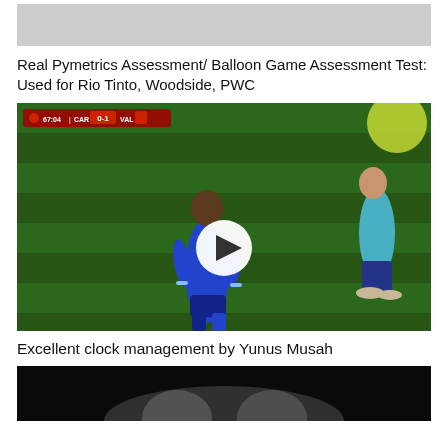[Figure (screenshot): Gray placeholder image at the top of the page, partially cropped]
Real Pymetrics Assessment/ Balloon Game Assessment Test: Used for Rio Tinto, Woodside, PWC
[Figure (screenshot): Video thumbnail of a soccer/football match showing a player in a blue jersey on a green field with a score overlay showing 67:04 CAR 0-1 VAL, with a white play button circle in the center]
Excellent clock management by Yunus Musah
[Figure (screenshot): Dark/black video thumbnail partially visible at the bottom of the page]